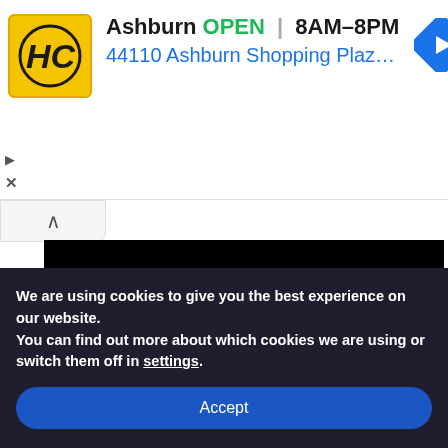[Figure (screenshot): Advertisement banner for HC (Haverty's/similar) store in Ashburn. Yellow logo with HC letters, store info showing OPEN 8AM–8PM, address 44110 Ashburn Shopping Plaza 190, A... with blue navigation arrow icon. Play and close controls on left side.]
[Figure (screenshot): Black POST COMMENT button area with collapse chevron on left]
We are using cookies to give you the best experience on our website.
You can find out more about which cookies we are using or switch them off in settings.
Accept